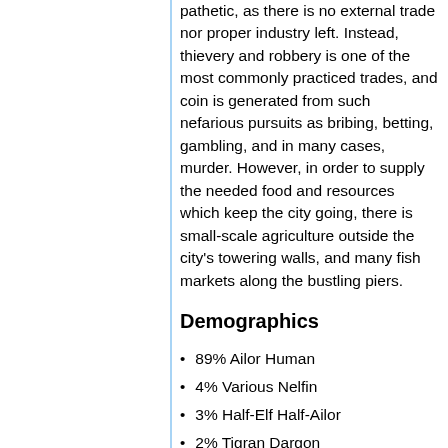pathetic, as there is no external trade nor proper industry left. Instead, thievery and robbery is one of the most commonly practiced trades, and coin is generated from such nefarious pursuits as bribing, betting, gambling, and in many cases, murder. However, in order to supply the needed food and resources which keep the city going, there is small-scale agriculture outside the city's towering walls, and many fish markets along the bustling piers.
Demographics
89% Ailor Human
4% Various Nelfin
3% Half-Elf Half-Ailor
2% Tigran Dargon
2% Orc Gorr